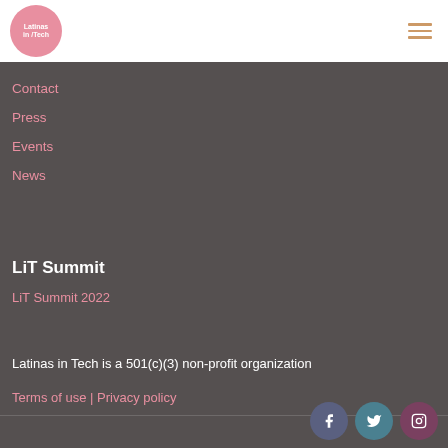[Figure (logo): Latinas in Tech circular pink logo with white text]
Contact
Press
Events
News
LiT Summit
LiT Summit 2022
[Figure (other): Donate button (pink rounded rectangle)]
Latinas in Tech is a 501(c)(3) non-profit organization
Terms of use | Privacy policy
[Figure (other): Social media icons: Facebook, Twitter, Instagram]